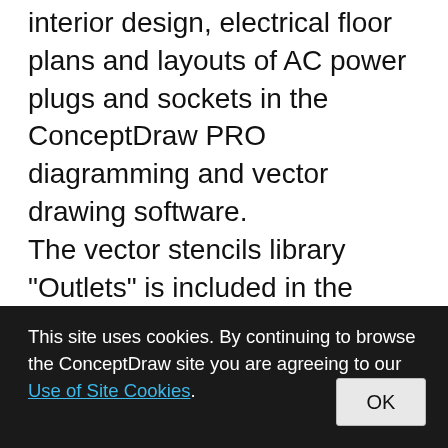Use these shapes for drawing building interior design, electrical floor plans and layouts of AC power plugs and sockets in the ConceptDraw PRO diagramming and vector drawing software. The vector stencils library "Outlets" is included in the Electric and Telecom Plans solution from the Building Plans area of ConceptDraw Solution Park.
This site uses cookies. By continuing to browse the ConceptDraw site you are agreeing to our Use of Site Cookies.